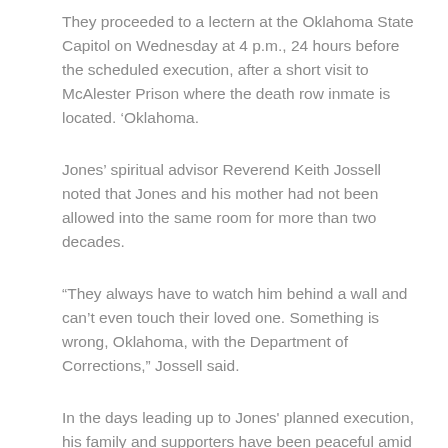They proceeded to a lectern at the Oklahoma State Capitol on Wednesday at 4 p.m., 24 hours before the scheduled execution, after a short visit to McAlester Prison where the death row inmate is located. ‘Oklahoma.
Jones’ spiritual advisor Reverend Keith Jossell noted that Jones and his mother had not been allowed into the same room for more than two decades.
“They always have to watch him behind a wall and can’t even touch their loved one. Something is wrong, Oklahoma, with the Department of Corrections,” Jossell said.
In the days leading up to Jones' planned execution, his family and supporters have been peaceful amid the most difficult circumstances. Group prayer, moments of silence and the singing of hymns have become commonplace.